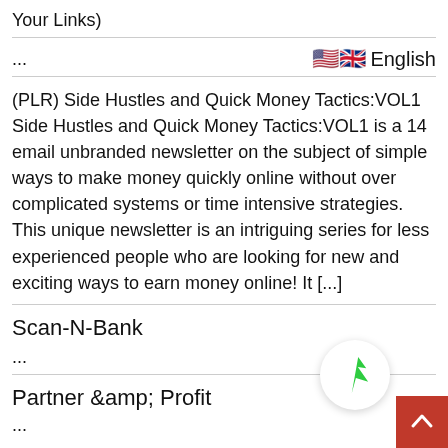Your Links)
...
English
(PLR) Side Hustles and Quick Money Tactics:VOL1 Side Hustles and Quick Money Tactics:VOL1 is a 14 email unbranded newsletter on the subject of simple ways to make money quickly online without over complicated systems or time intensive strategies. This unique newsletter is an intriguing series for less experienced people who are looking for new and exciting ways to earn money online! It [...]
Scan-N-Bank
...
Partner &amp; Profit
...